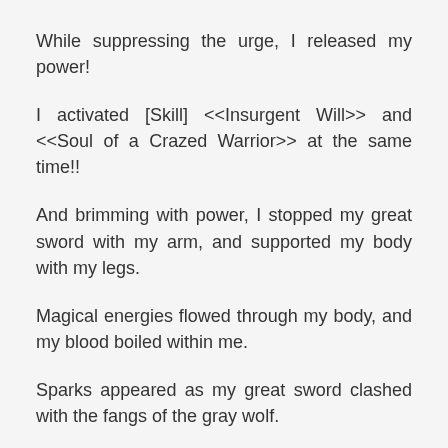While suppressing the urge, I released my power!
I activated [Skill] <<Insurgent Will>> and <<Soul of a Crazed Warrior>> at the same time!!
And brimming with power, I stopped my great sword with my arm, and supported my body with my legs.
Magical energies flowed through my body, and my blood boiled within me.
Sparks appeared as my great sword clashed with the fangs of the gray wolf.
Focusing more of my strength, my feet sank into the ground. And the gray wolf's pressure challenged me from in front.